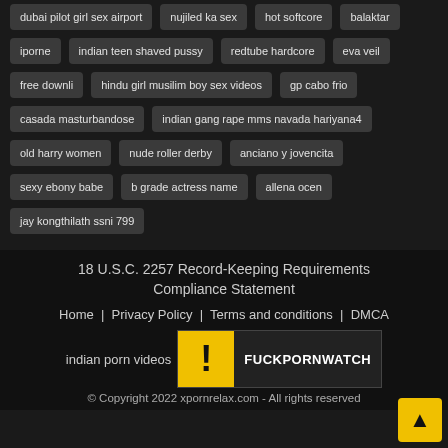dubai pilot girl sex airport
nujiled ka sex
hot softcore
balaktar
iporne
indian teen shaved pussy
redtube hardcore
eva veil
free downli
hindu girl musilim boy sex videos
gp cabo frio
casada masturbandose
indian gang rape mms navada hariyana4
old harry women
nude roller derby
anciano y jovencita
sexy ebony babe
b grade actress name
allena ocen
jay kongthilath ssni 799
18 U.S.C. 2257 Record-Keeping Requirements Compliance Statement
Home | Privacy Policy | Terms and conditions | DMCA
indian porn videos
© Copyright 2022 xpornrelax.com - All rights reserved